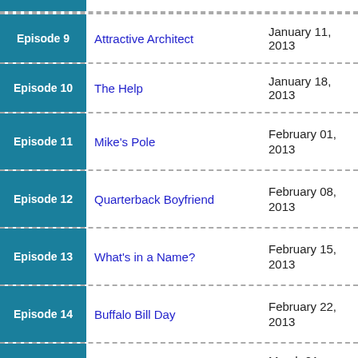| Episode | Title | Air Date |
| --- | --- | --- |
| Episode 9 | Attractive Architect | January 11, 2013 |
| Episode 10 | The Help | January 18, 2013 |
| Episode 11 | Mike's Pole | February 01, 2013 |
| Episode 12 | Quarterback Boyfriend | February 08, 2013 |
| Episode 13 | What's in a Name? | February 15, 2013 |
| Episode 14 | Buffalo Bill Day | February 22, 2013 |
| Episode 15 | Breaking Curfew | March 01, 2013 |